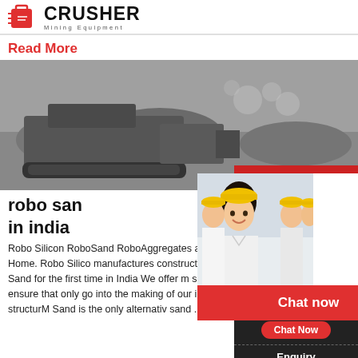[Figure (logo): Crusher Mining Equipment logo with red bag/cart icon and bold CRUSHER text]
Read More
[Figure (photo): Mining crusher machine in operation on rocky terrain]
robo sand in india
Robo Silicon RoboSand RoboAggregates and RoboPlastAdvantages M sand Home. Robo Silicon manufactures construction materials We introduce Robo Sand for the first time in India We offer m sand Aggregates and Plast We ensure that only go into the making of our infrastructure essenti in durable structurM Sand is the only alternative sand ...
[Figure (infographic): 24Hrs Online live chat popup with workers in hard hats, LIVE CHAT title, Click for a Free Consultation text, Chat now and Chat later buttons]
[Figure (photo): Customer service agent with headset on right sidebar]
Need questions & suggestion?
Chat Now
Enquiry
limingjlmofen@sina.com